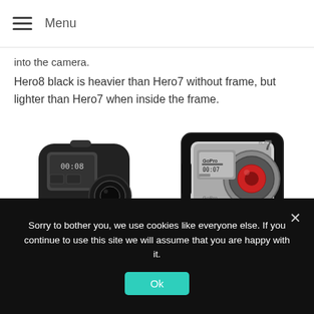Menu
into the camera.
Hero8 black is heavier than Hero7 without frame, but lighter than Hero7 when inside the frame.
[Figure (photo): Two GoPro action cameras side by side: GoPro Hero8 Black on the left (standalone, showing screen displaying 00:08), and GoPro Hero7 Black on the right (shown inside a protective frame mount with display showing 00:07 and a '7' logo). Both cameras are dark/black colored.]
Sorry to bother you, we use cookies like everyone else. If you continue to use this site we will assume that you are happy with it.